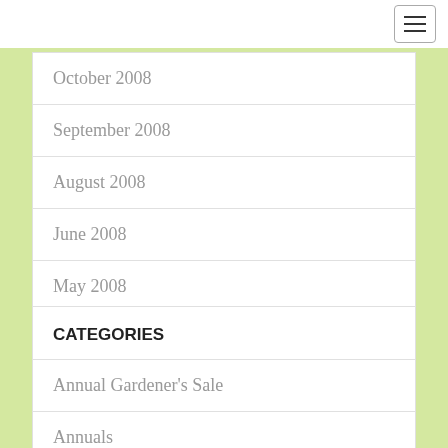October 2008
September 2008
August 2008
June 2008
May 2008
CATEGORIES
Annual Gardener's Sale
Annuals